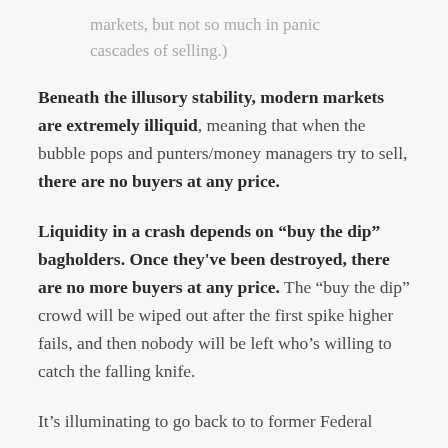markets, but not so much in panic cascades of selling.)
Beneath the illusory stability, modern markets are extremely illiquid, meaning that when the bubble pops and punters/money managers try to sell, there are no buyers at any price.
Liquidity in a crash depends on “buy the dip” bagholders. Once they've been destroyed, there are no more buyers at any price. The “buy the dip” crowd will be wiped out after the first spike higher fails, and then nobody will be left who’s willing to catch the falling knife.
It’s illuminating to go back to to former Federal